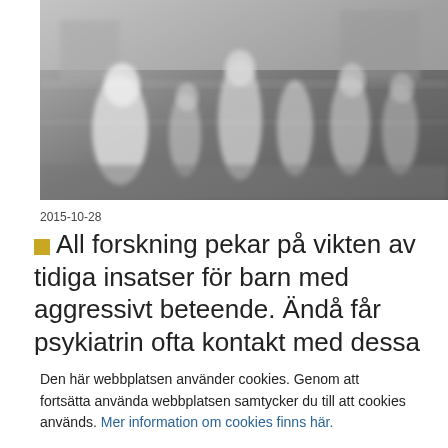[Figure (photo): Black and white blurred photo of a crowd of people in motion on a street or public space, motion blur effect giving impression of movement.]
2015-10-28
All forskning pekar på vikten av tidiga insatser för barn med aggressivt beteende. Ändå får psykiatrin ofta kontakt med dessa
Den här webbplatsen använder cookies. Genom att fortsätta använda webbplatsen samtycker du till att cookies används. Mer information om cookies finns här.
Inställningar  Godkänn